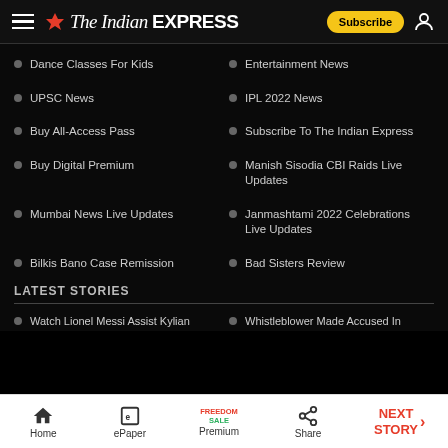The Indian EXPRESS
Dance Classes For Kids
Entertainment News
UPSC News
IPL 2022 News
Buy All-Access Pass
Subscribe To The Indian Express
Buy Digital Premium
Manish Sisodia CBI Raids Live Updates
Mumbai News Live Updates
Janmashtami 2022 Celebrations Live Updates
Bilkis Bano Case Remission
Bad Sisters Review
LATEST STORIES
Watch Lionel Messi Assist Kylian
Whistleblower Made Accused In
Home | ePaper | Premium | Share | NEXT STORY